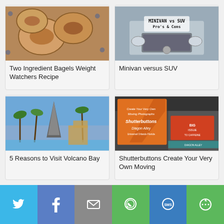[Figure (photo): Sesame bagels on a blue polka dot cloth]
Two Ingredient Bagels Weight Watchers Recipe
[Figure (photo): Front of a silver minivan/SUV with text overlay: MINIVAN vs SUV Pro's & Cons]
Minivan versus SUV
[Figure (photo): Volcano Bay water park with tall water slides and palm trees]
5 Reasons to Visit Volcano Bay
[Figure (photo): Shutterbuttons Create Your Very Own Moving Photographs at Universal Orlando Florida - orange promotional banner against dark building]
Shutterbuttons Create Your Very Own Moving